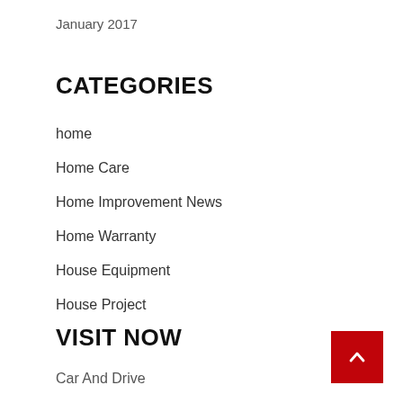January 2017
CATEGORIES
home
Home Care
Home Improvement News
Home Warranty
House Equipment
House Project
VISIT NOW
Car And Drive